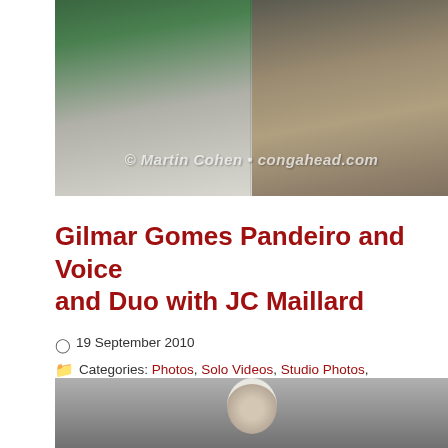[Figure (photo): Two musicians holding drums/percussion instruments outdoors, with watermark '© Martin Cohen • congahead.com']
Gilmar Gomes Pandeiro and Voice and Duo with JC Maillard
19 September 2010
Categories: Photos, Solo Videos, Studio Photos, Videos
Tags: bata, brasil, brazil, congahead congahead.com, gilmar, gomes, guadaoupe, guitar, jc, maillard, martin cohen, pandiero, percussion, vocal, world music
[Figure (photo): Portrait photo of a musician wearing a white head wrap, against a grey background]